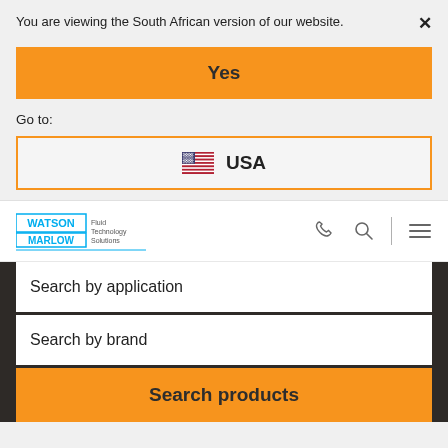You are viewing the South African version of our website. ×
Yes
Go to:
🇺🇸 USA
[Figure (logo): Watson Marlow Fluid Technology Solutions logo with phone, search, and hamburger menu icons]
Search by application
Search by brand
Search products